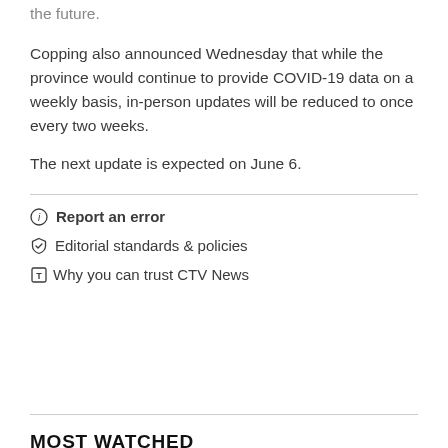the future.
Copping also announced Wednesday that while the province would continue to provide COVID-19 data on a weekly basis, in-person updates will be reduced to once every two weeks.
The next update is expected on June 6.
Report an error
Editorial standards & policies
Why you can trust CTV News
MOST WATCHED